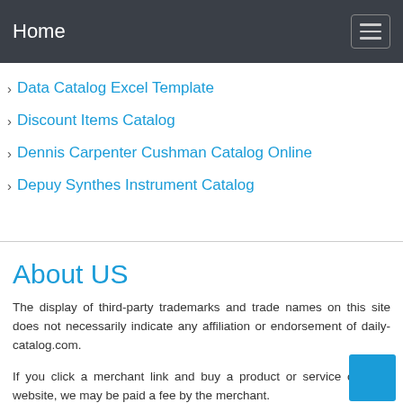Home
Data Catalog Excel Template
Discount Items Catalog
Dennis Carpenter Cushman Catalog Online
Depuy Synthes Instrument Catalog
About US
The display of third-party trademarks and trade names on this site does not necessarily indicate any affiliation or endorsement of daily-catalog.com.
If you click a merchant link and buy a product or service on their website, we may be paid a fee by the merchant.